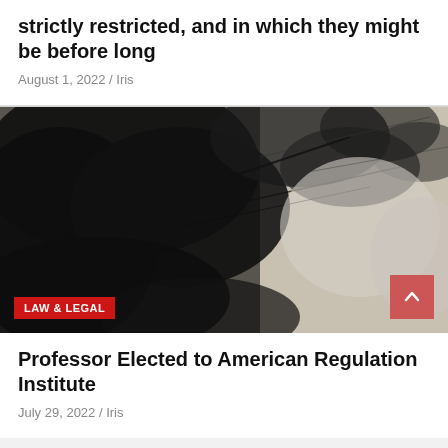strictly restricted, and in which they might be before long
August 1, 2022 / Iris
[Figure (photo): Black and white photograph of tree branches and foliage with a bright sky background. A red 'LAW & LEGAL' badge is overlaid in the bottom-left corner.]
Professor Elected to American Regulation Institute
July 29, 2022 / Iris